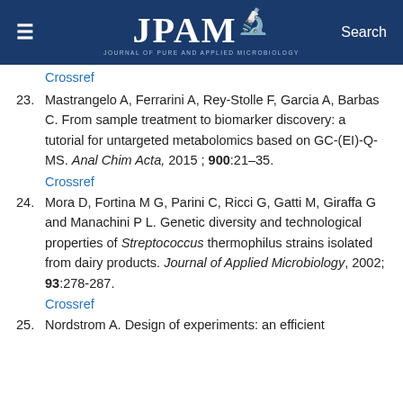≡  JPAM  Search
Crossref
23. Mastrangelo A, Ferrarini A, Rey-Stolle F, Garcia A, Barbas C. From sample treatment to biomarker discovery: a tutorial for untargeted metabolomics based on GC-(EI)-Q-MS. Anal Chim Acta, 2015 ; 900:21–35.
Crossref
24. Mora D, Fortina M G, Parini C, Ricci G, Gatti M, Giraffa G and Manachini P L. Genetic diversity and technological properties of Streptococcus thermophilus strains isolated from dairy products. Journal of Applied Microbiology, 2002; 93:278-287.
Crossref
25. Nordstrom A. Design of experiments: an efficient